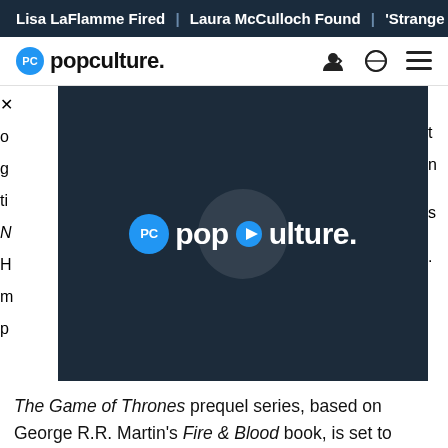Lisa LaFlamme Fired | Laura McCulloch Found | 'Strange Adv...
PC popculture.
[Figure (screenshot): Video player overlay with popculture. logo and play button on dark background, partially covering article text]
The Game of Thrones prequel series, based on George R.R. Martin's Fire & Blood book, is set to arrive at the end of the month. Hulu, meanwhile, will join the game with additions